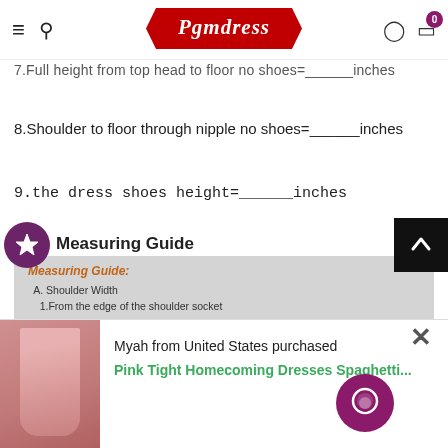Pgmdress
7.Full height from top head to floor no shoes=______inches
8.Shoulder to floor through nipple no shoes=______inches
9.the dress shoes height=______inches
Measuring Guide
[Figure (infographic): Measuring Guide infographic panel showing instructions for Shoulder Width and Bust measurements on a light grey background with decorative scroll illustration]
Myah from United States purchased
Pink Tight Homecoming Dresses Spaghetti...